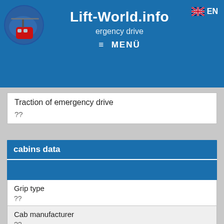Lift-World.info  ≡ MENÜ  EN
| Field | Value |
| --- | --- |
| Traction of emergency drive | ?? |
| cabins data |  |
| Grip type | ?? |
| Cab manufacturer | ?? |
| Cab model | ?? |